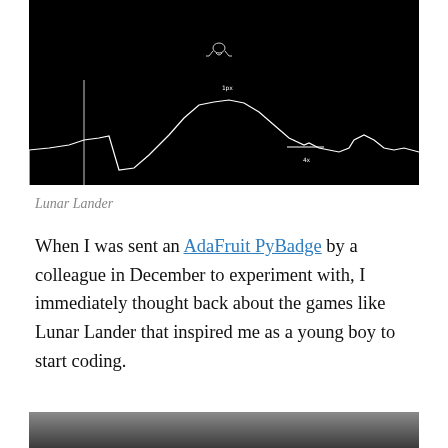[Figure (screenshot): Screenshot of a Lunar Lander game on a black background showing white outline terrain with hills and a small lander spacecraft near the top center, and small text labels '1px' and '4x' on the screen.]
Lunar Lander
When I was sent an AdaFruit PyBadge by a colleague in December to experiment with, I immediately thought back about the games like Lunar Lander that inspired me as a young boy to start coding.
[Figure (photo): Bottom portion of a dark gray surface/device, partially visible at the bottom of the page.]